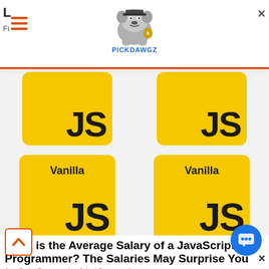[Figure (screenshot): Website navbar with hamburger menu icon, PickDawgz logo (bulldog mascot), and close X button. Below are four JavaScript logo tiles in a 2x2 grid — top two show plain 'JS' on yellow background, bottom two show 'Vanilla JS' on yellow background with rounded corners. Below the grid is an advertisement bar reading 'What is the Average Salary of a JavaScript Programmer? The Salaries May Surprise You' from JavaScript Programming Jobs (Sponsored). A blue chat widget button appears bottom right and a scroll-up button (orange chevron) appears bottom left.]
What is the Average Salary of a JavaScript Programmer? The Salaries May Surprise You
JavaScript Programming Jobs | Sponsored